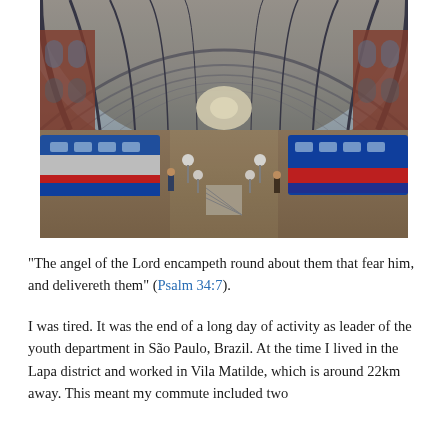[Figure (photo): Interior of a large railway station with an arched glass and iron roof. Multiple trains are visible on the platforms below — blue and silver commuter trains on the left, and blue and red trains on the right. The station has brick walls with arched windows and a long central platform receding to a bright vanishing point in the distance.]
"The angel of the Lord encampeth round about them that fear him, and delivereth them" (Psalm 34:7).
I was tired. It was the end of a long day of activity as leader of the youth department in São Paulo, Brazil. At the time I lived in the Lapa district and worked in Vila Matilde, which is around 22km away. This meant my commute included two